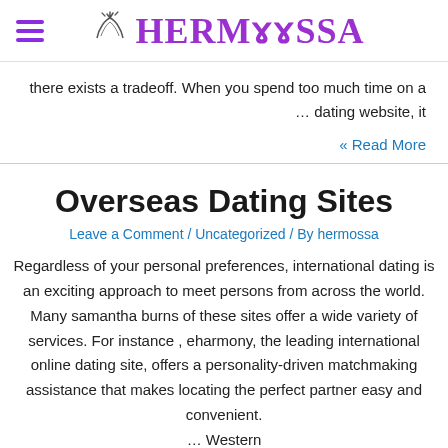HERMOSSA
there exists a tradeoff. When you spend too much time on a … dating website, it
« Read More
Overseas Dating Sites
Leave a Comment / Uncategorized / By hermossa
Regardless of your personal preferences, international dating is an exciting approach to meet persons from across the world. Many samantha burns of these sites offer a wide variety of services. For instance , eharmony, the leading international online dating site, offers a personality-driven matchmaking assistance that makes locating the perfect partner easy and convenient. … Western